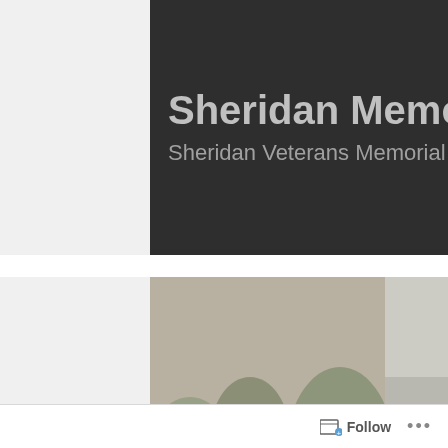[Figure (photo): Dark sign banner showing 'Sheridan Memorial Pa' (cropped) and 'Sheridan Veterans Memorial' in light gray text on dark background]
[Figure (photo): Outdoor monument with bronze face relief sculpture on top of a dark pillar with a plaque reading 'Spanish-American War' below]
[Figure (photo): Close-up of stone monument inscription reading 'A leader may point out the road... but many leaders and many peoples...' with media4willows.com watermark]
[Figure (photo): Partial bottom-left thumbnail of monument with bronze face sculpture]
[Figure (photo): Partial bottom-right thumbnail of stone inscription with media4willows.com watermark]
Follow
...